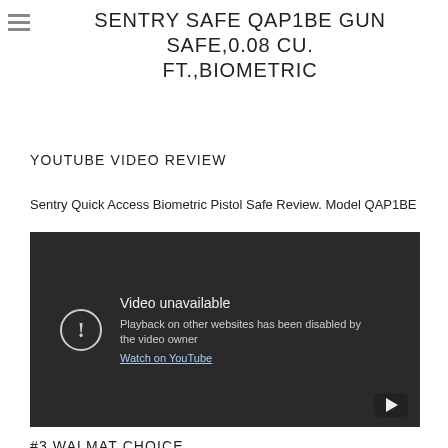SENTRY SAFE QAP1BE GUN SAFE,0.08 CU. FT.,BIOMETRIC
YOUTUBE VIDEO REVIEW
Sentry Quick Access Biometric Pistol Safe Review. Model QAP1BE
[Figure (screenshot): Embedded YouTube video player showing 'Video unavailable. Playback on other websites has been disabled by the video owner. Watch on YouTube' message with YouTube play button icon in bottom right corner.]
#3 WALMAT CHOICE